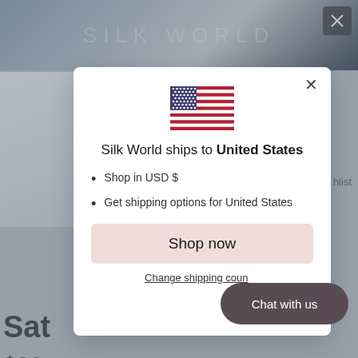[Figure (screenshot): Website background showing Silk World e-commerce product page with blue silk image header, thumbnail, partial product title 'Sat...', price '$32...', and color swatch section]
Silk World ships to United States
Shop in USD $
Get shipping options for United States
Shop now
Change shipping country
Chat with us